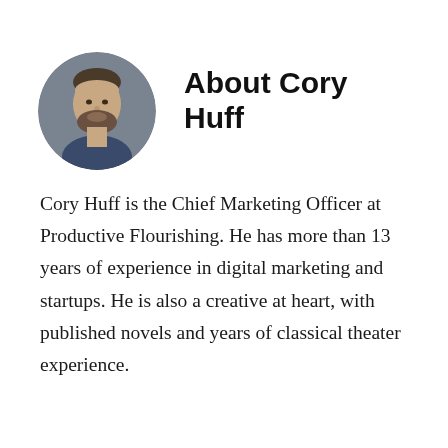[Figure (photo): Circular headshot photo of Cory Huff, a man with a beard wearing a blue shirt, against a gray background]
About Cory Huff
Cory Huff is the Chief Marketing Officer at Productive Flourishing. He has more than 13 years of experience in digital marketing and startups. He is also a creative at heart, with published novels and years of classical theater experience.